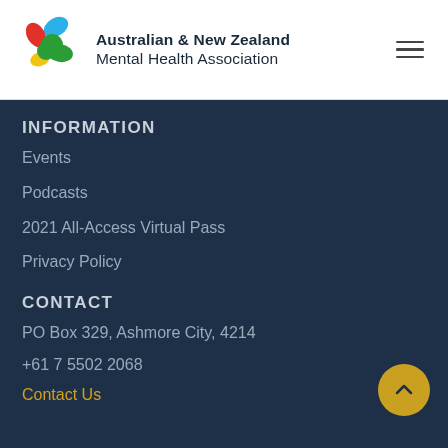[Figure (logo): Australian & New Zealand Mental Health Association logo with colorful speech bubble petals (blue, red, green, yellow) and organization name]
INFORMATION
Events
Podcasts
2021 All-Access Virtual Pass
Privacy Policy
CONTACT
PO Box 329, Ashmore City, 4214
+61 7 5502 2068
Contact Us